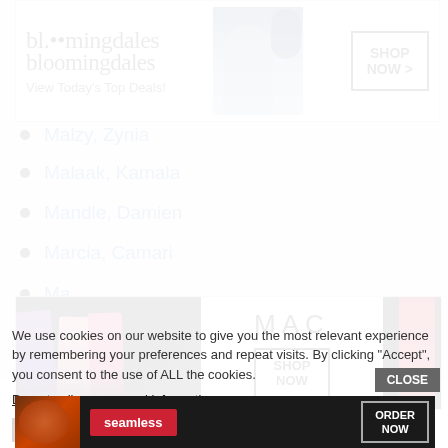[Figure (other): Bloomingdale's advertisement banner: logo, 'View Today's Top Deals!', model with hat, SHOP NOW button]
Maisel, Ismael
Malzy, Zynia
Malaak, Kamala
Mandle, Damien
Marcia, Camari
[Figure (other): MAC Cosmetics advertisement banner with lipsticks, MAC logo, SHOP NOW button]
Marley, Elmyra
Marlie, Ramiel
We use cookies on our website to give you the most relevant experience by remembering your preferences and repeat visits. By clicking “Accept”, you consent to the use of ALL the cookies.
Do not sell my personal information.
[Figure (other): Seamless food delivery advertisement banner with pizza image, seamless logo, ORDER NOW button]
CLOSE